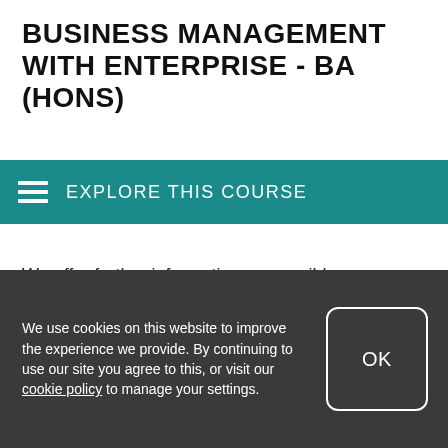BUSINESS MANAGEMENT WITH ENTERPRISE - BA (HONS)
EXPLORE THIS COURSE
We offer further information on possible undergraduate financial support. This includes the type of loans, grants and scholarships available both from the government and from Birmingham City University.
We use cookies on this website to improve the experience we provide. By continuing to use our site you agree to this, or visit our cookie policy to manage your settings.